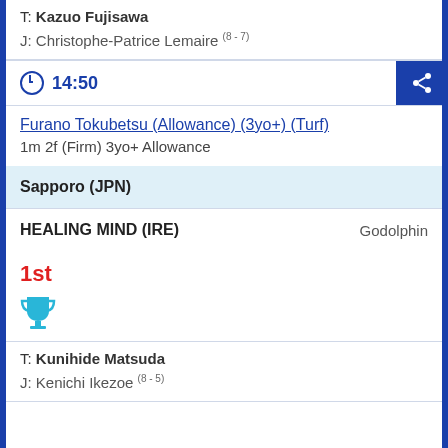T: Kazuo Fujisawa
J: Christophe-Patrice Lemaire (8 - 7)
14:50
Furano Tokubetsu (Allowance) (3yo+) (Turf)
1m 2f (Firm) 3yo+ Allowance
Sapporo (JPN)
HEALING MIND (IRE)   Godolphin
1st
T: Kunihide Matsuda
J: Kenichi Ikezoe (8 - 5)